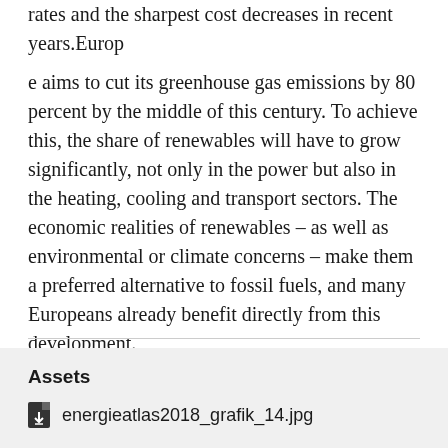rates and the sharpest cost decreases in recent years.Europ
e aims to cut its greenhouse gas emissions by 80 percent by the middle of this century. To achieve this, the share of renewables will have to grow significantly, not only in the power but also in the heating, cooling and transport sectors. The economic realities of renewables – as well as environmental or climate concerns – make them a preferred alternative to fossil fuels, and many Europeans already benefit directly from this development.
Assets
energieatlas2018_grafik_14.jpg